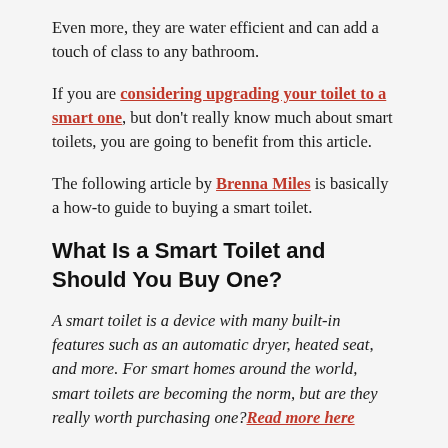Even more, they are water efficient and can add a touch of class to any bathroom.
If you are considering upgrading your toilet to a smart one, but don't really know much about smart toilets, you are going to benefit from this article.
The following article by Brenna Miles is basically a how-to guide to buying a smart toilet.
What Is a Smart Toilet and Should You Buy One?
A smart toilet is a device with many built-in features such as an automatic dryer, heated seat, and more. For smart homes around the world, smart toilets are becoming the norm, but are they really worth purchasing one? Read more here